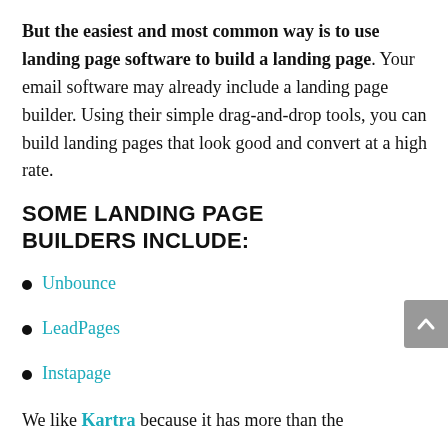But the easiest and most common way is to use landing page software to build a landing page. Your email software may already include a landing page builder. Using their simple drag-and-drop tools, you can build landing pages that look good and convert at a high rate.
SOME LANDING PAGE BUILDERS INCLUDE:
Unbounce
LeadPages
Instapage
We like Kartra because it has more than the…